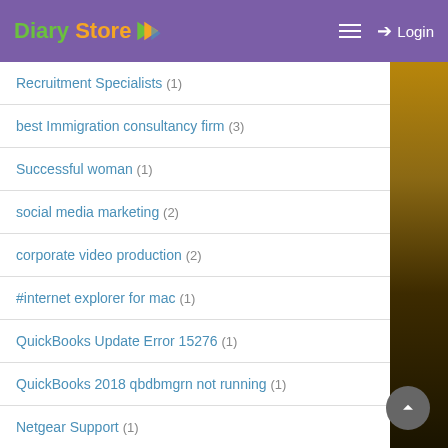Diary Store — Login
Recruitment Specialists (1)
best Immigration consultancy firm (3)
Successful woman (1)
social media marketing (2)
corporate video production (2)
#internet explorer for mac (1)
QuickBooks Update Error 15276 (1)
QuickBooks 2018 qbdbmgrn not running (1)
Netgear Support (1)
fuel monitoring system (2)
Faith quotes (1)
Books (2)